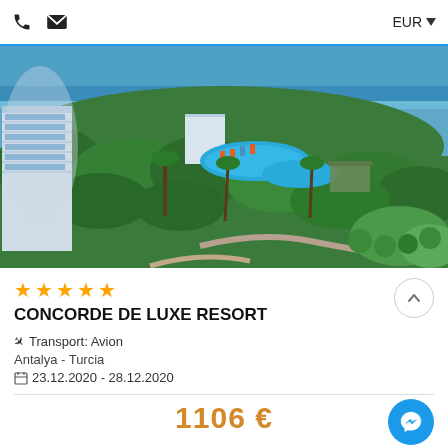EUR
[Figure (photo): Aerial view of Concorde De Luxe Resort showing pools, lush greenery, palm trees, white hotel building on the left, and the blue Mediterranean sea in the background.]
★★★★★
CONCORDE DE LUXE RESORT
✈ Transport: Avion
Antalya - Turcia
📅 23.12.2020 - 28.12.2020
1106 €